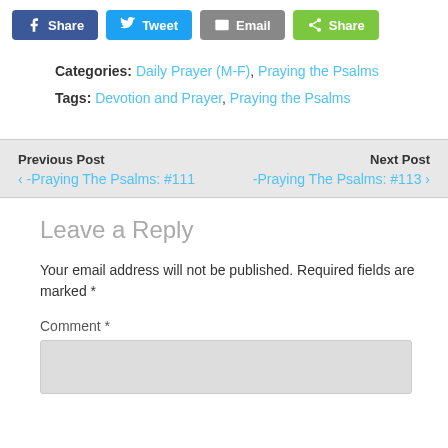[Figure (screenshot): Social share buttons: Facebook Share, Twitter Tweet, Email, and green Share button]
Categories: Daily Prayer (M-F), Praying the Psalms
Tags: Devotion and Prayer, Praying the Psalms
Previous Post
‹ -Praying The Psalms: #111
Next Post
-Praying The Psalms: #113 ›
Leave a Reply
Your email address will not be published. Required fields are marked *
Comment *